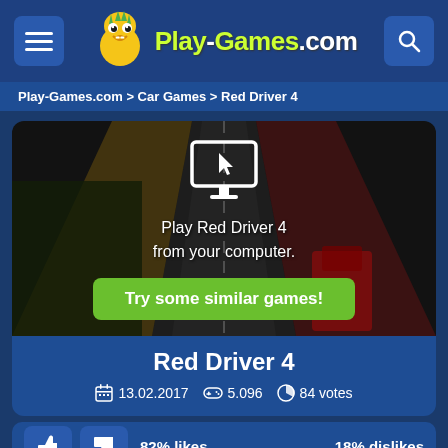Play-Games.com
Play-Games.com > Car Games > Red Driver 4
[Figure (screenshot): Red Driver 4 game preview showing a top-down road racing scene with a monitor icon overlay and a green 'Try some similar games!' button]
Red Driver 4
13.02.2017  5.096  84 votes
82% likes   18% dislikes